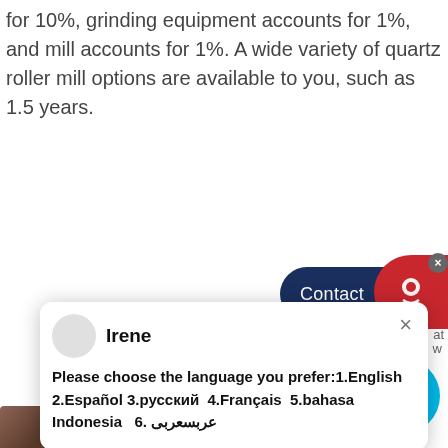for 10%, grinding equipment accounts for 1%, and mill accounts for 1%. A wide variety of quartz roller mill options are available to you, such as 1.5 years.
[Figure (screenshot): Contact button widget (dark blue rounded button with 'Contact' label) and red circular customer service icon with headset, with a close X button overlay]
[Figure (screenshot): Chat popup dialog box with avatar circle for 'Irene', close X button, and message: 'Please choose the language you prefer:1.English  2.Español  3.русский  4.Français  5.bahasa Indonesia   6. عربسعربى']
Efficiency
Machinery Quartz HGM Marble Stone Grinding Mill Machinery For Calcium Carbonate Gypsum Limestone Quartz Graphite Powder Factory. $60,000.00-$85,000.00/ Set. 1 Set (Min. Order) 4 YRS CN. Supplier. Contact Supplier. Compare. Ad. Add to Favorites
[Figure (infographic): Blue circle badge with number 1]